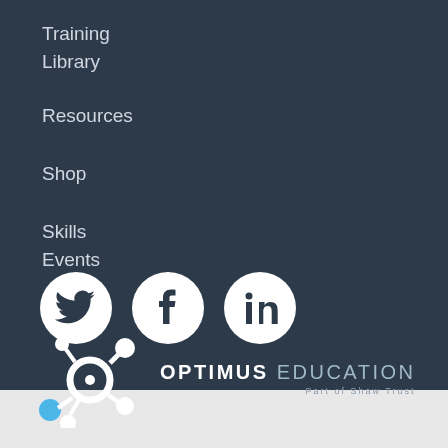Training Library
Resources
Shop
Skills Events
[Figure (logo): Social media icons: Twitter, Facebook, LinkedIn in white circles on dark background]
[Figure (logo): Optimus Education logo - Part of Shaw Trust, white and light text on dark background with molecular/network icon]